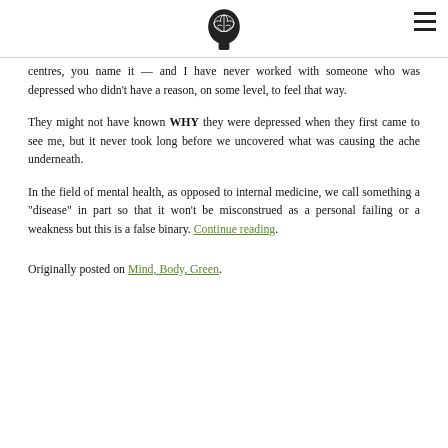[Brain logo icon]
centres, you name it — and I have never worked with someone who was depressed who didn't have a reason, on some level, to feel that way.
They might not have known WHY they were depressed when they first came to see me, but it never took long before we uncovered what was causing the ache underneath.
In the field of mental health, as opposed to internal medicine, we call something a "disease" in part so that it won't be misconstrued as a personal failing or a weakness but this is a false binary. Continue reading.
Originally posted on Mind, Body, Green.